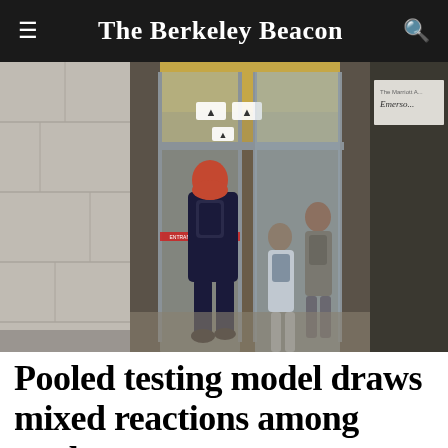The Berkeley Beacon
[Figure (photo): Students entering a building through glass automatic sliding doors. A person with red hair wearing a dark t-shirt and backpack is visible from behind on the left. Two more students are visible entering through the glass doors. COVID-19 signage is posted on the doors. A partial sign reading 'The Marriott A... Emerson...' is visible in the upper right.]
Pooled testing model draws mixed reactions among students